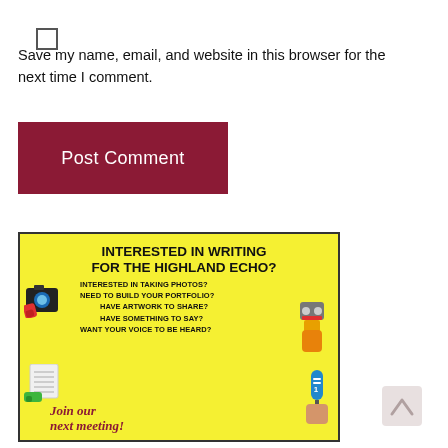Save my name, email, and website in this browser for the next time I comment.
Post Comment
[Figure (infographic): Yellow flyer for Highland Echo student newspaper recruitment. Text: INTERESTED IN WRITING FOR THE HIGHLAND ECHO? INTERESTED IN TAKING PHOTOS? NEED TO BUILD YOUR PORTFOLIO? HAVE ARTWORK TO SHARE? HAVE SOMETHING TO SAY? WANT YOUR VOICE TO BE HEARD? Join our next meeting! Decorative illustrations of camera, tape recorder, notepad, and microphone held by colored hands.]